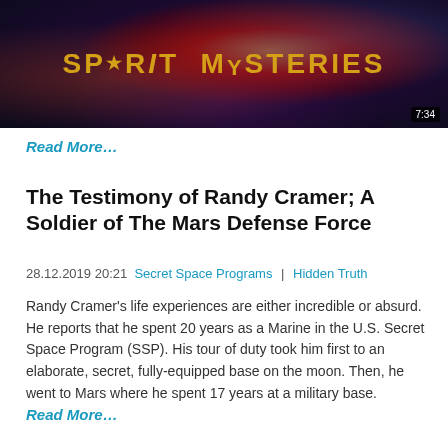[Figure (screenshot): Video thumbnail with dark colorful background and 'SPIRIT MYSTERIES' title in gold letters, with a 7:34 time badge in the bottom right corner.]
Read More…
The Testimony of Randy Cramer; A Soldier of The Mars Defense Force
28.12.2019 20:21   Secret Space Programs  |  Hidden Truth
Randy Cramer's life experiences are either incredible or absurd. He reports that he spent 20 years as a Marine in the U.S. Secret Space Program (SSP). His tour of duty took him first to an elaborate, secret, fully-equipped base on the moon. Then, he went to Mars where he spent 17 years at a military base.
Read More…